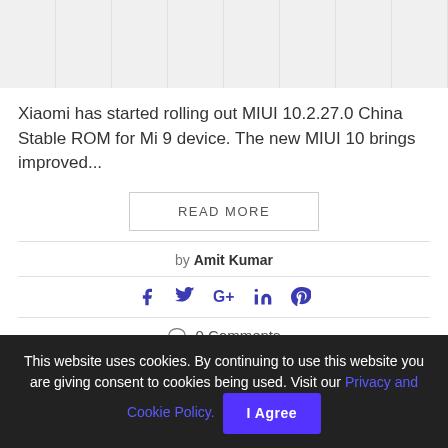[Figure (other): Placeholder image with gray grid pattern]
Xiaomi has started rolling out MIUI 10.2.27.0 China Stable ROM for Mi 9 device. The new MIUI 10 brings improved...
READ MORE
by Amit Kumar
[Figure (other): Social media icons: Facebook, Twitter, Google+, LinkedIn, Pinterest]
0 Comments
This website uses cookies. By continuing to use this website you are giving consent to cookies being used. Visit our Privacy and Cookie Policy.